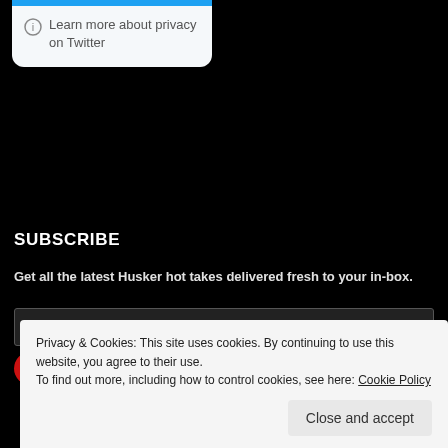[Figure (screenshot): Twitter card widget with blue top bar and info icon reading 'Learn more about privacy on Twitter']
SUBSCRIBE
Get all the latest Husker hot takes delivered fresh to your in-box.
[Figure (screenshot): Email Address input field (dark background)]
[Figure (screenshot): Red SUBSCRIBE button with rounded corners]
Privacy & Cookies: This site uses cookies. By continuing to use this website, you agree to their use.
To find out more, including how to control cookies, see here: Cookie Policy
[Figure (screenshot): Close and accept button (light gray)]